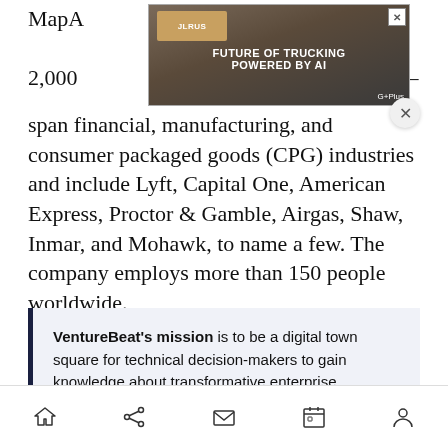MapA... 2,000... 0 — span financial, manufacturing, and consumer packaged goods (CPG) industries and include Lyft, Capital One, American Express, Proctor & Gamble, Airgas, Shaw, Inmar, and Mohawk, to name a few. The company employs more than 150 people worldwide.
[Figure (other): Advertisement overlay showing a truck with text 'FUTURE OF TRUCKING POWERED BY AI' and a G+ logo, with a close button.]
VentureBeat's mission is to be a digital town square for technical decision-makers to gain knowledge about transformative enterprise technology and transact. Discover our Briefings.
Home Share Mail Calendar Profile navigation icons